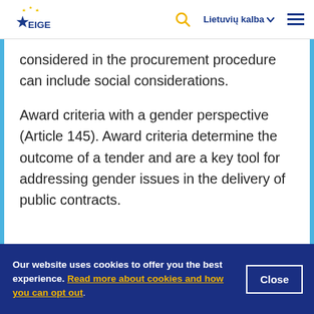EIGE | Lietuvių kalba
considered in the procurement procedure can include social considerations. Award criteria with a gender perspective (Article 145). Award criteria determine the outcome of a tender and are a key tool for addressing gender issues in the delivery of public contracts.
Our website uses cookies to offer you the best experience. Read more about cookies and how you can opt out.